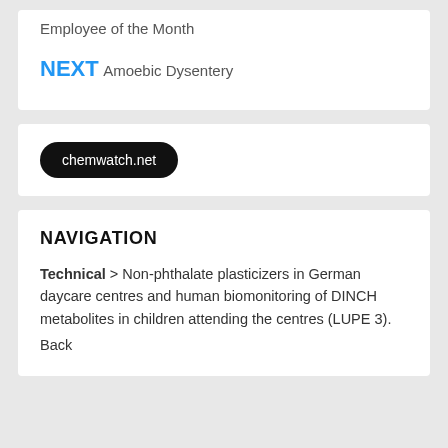Employee of the Month
NEXT
Amoebic Dysentery
chemwatch.net
NAVIGATION
Technical > Non-phthalate plasticizers in German daycare centres and human biomonitoring of DINCH metabolites in children attending the centres (LUPE 3).
Back